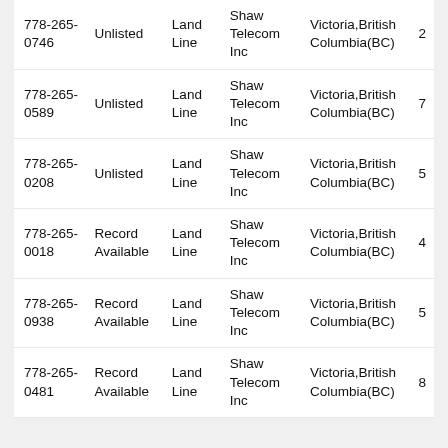| Phone | Status | Type | Carrier | Location | Count |
| --- | --- | --- | --- | --- | --- |
| 778-265-0746 | Unlisted | Land Line | Shaw Telecom Inc | Victoria,British Columbia(BC) | 2 |
| 778-265-0589 | Unlisted | Land Line | Shaw Telecom Inc | Victoria,British Columbia(BC) | 7 |
| 778-265-0208 | Unlisted | Land Line | Shaw Telecom Inc | Victoria,British Columbia(BC) | 5 |
| 778-265-0018 | Record Available | Land Line | Shaw Telecom Inc | Victoria,British Columbia(BC) | 4 |
| 778-265-0938 | Record Available | Land Line | Shaw Telecom Inc | Victoria,British Columbia(BC) | 5 |
| 778-265-0481 | Record Available | Land Line | Shaw Telecom Inc | Victoria,British Columbia(BC) | 8 |
| 778-265-0831 | Unlisted | Land Line | Shaw Telecom Inc | Victoria,British Columbia(BC) | 7 |